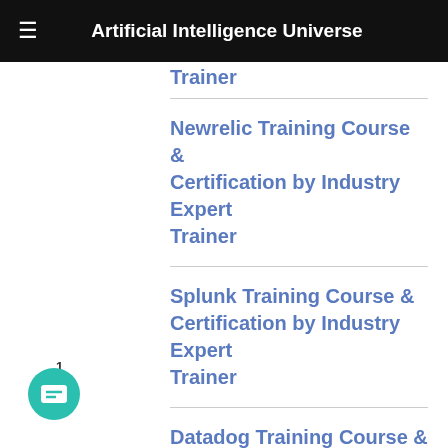Artificial Intelligence Universe
Trainer
Newrelic Training Course & Certification by Industry Expert Trainer
Splunk Training Course & Certification by Industry Expert Trainer
Datadog Training Course & Certification by Industry Expert Trainer
Zabbix Training Course & Certification by Industry Expert Trainer
MLOps Training Course &